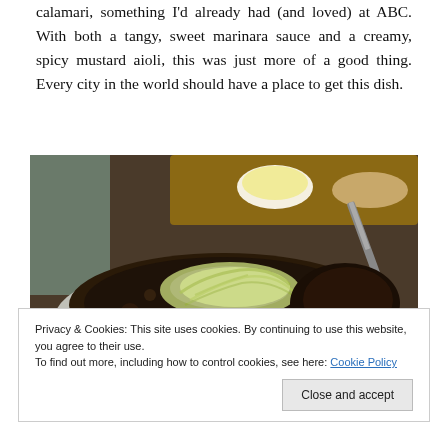The boy and I started out with an order of pretzel-dusted calamari, something I'd already had (and loved) at ABC. With both a tangy, sweet marinara sauce and a creamy, spicy mustard aioli, this was just more of a good thing. Every city in the world should have a place to get this dish.
[Figure (photo): Close-up photo of a food dish, appearing to be a pizza or flatbread topped with shredded greens and cheese, on a round silver plate. A knife and small bowl of butter visible in the background.]
Privacy & Cookies: This site uses cookies. By continuing to use this website, you agree to their use. To find out more, including how to control cookies, see here: Cookie Policy